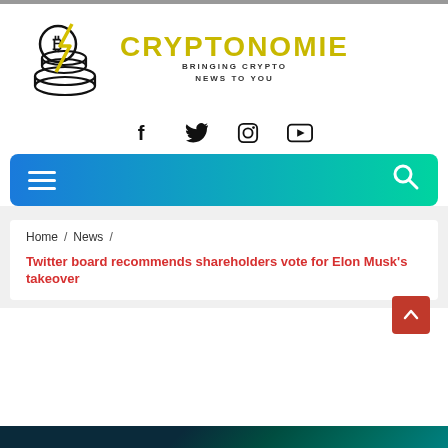[Figure (logo): Cryptonomie logo with Bitcoin coin stack and lightning bolt icon, with brand name CRYPTONOMIE and tagline BRINGING CRYPTO NEWS TO YOU]
[Figure (infographic): Social media icons row: Facebook, Twitter, Instagram, YouTube]
[Figure (infographic): Navigation bar with hamburger menu on left and search icon on right, blue to teal gradient background]
Home / News /
Twitter board recommends shareholders vote for Elon Musk's takeover
[Figure (photo): Bottom image strip with dark teal/green background, partially visible]